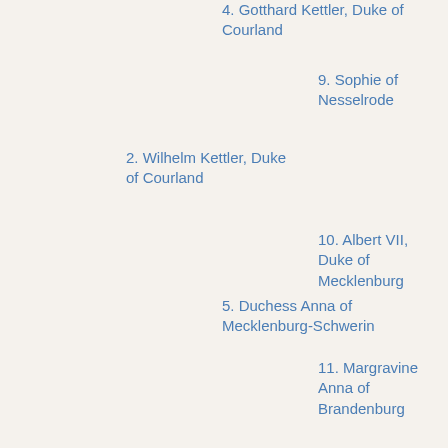4. Gotthard Kettler, Duke of Courland
9. Sophie of Nesselrode
2. Wilhelm Kettler, Duke of Courland
10. Albert VII, Duke of Mecklenburg
5. Duchess Anna of Mecklenburg-Schwerin
11. Margravine Anna of Brandenburg
1. Jacob Kettler, Duke of Courland
12. Albert, Duke of Prussia
6. Albert Frederick, Duke of Prussia